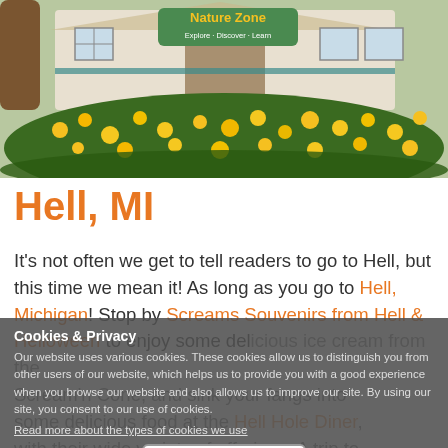[Figure (photo): Exterior of Nature Zone building with yellow flowers in front. Sign reads 'Nature Zone – Explore, Discover, Learn'.]
Hell, MI
It's not often we get to tell readers to go to Hell, but this time we mean it! As long as you go to Hell, Michigan! Stop by Screams Souvenirs from Hell & Helloween to enjoy some delicious ice cream from the Scream'n Cone, and sink your fangs into some delicious food at the Hell Hole Diner, with their wide variety of offerings. A trip to Hell is a great way to get ready for the
Cookies & Privacy
Our website uses various cookies. These cookies allow us to distinguish you from other users of our website, which helps us to provide you with a good experience when you browse our website and also allows us to improve our site. By using our site, you consent to our use of cookies.
Read more about the types of cookies we use
Accept